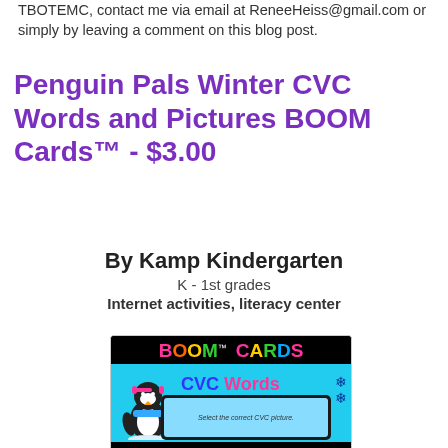TBOTEMC, contact me via email at ReneeHeiss@gmail.com or simply by leaving a comment on this blog post.
Penguin Pals Winter CVC Words and Pictures BOOM Cards™ - $3.00
By Kamp Kindergarten
K - 1st grades
Internet activities, literacy center
[Figure (illustration): BOOM Cards product cover image showing colorful BOOM CARDS logo on black background, with CVC Words text and a cartoon penguin on a light blue background, and a tablet device showing penguin images]